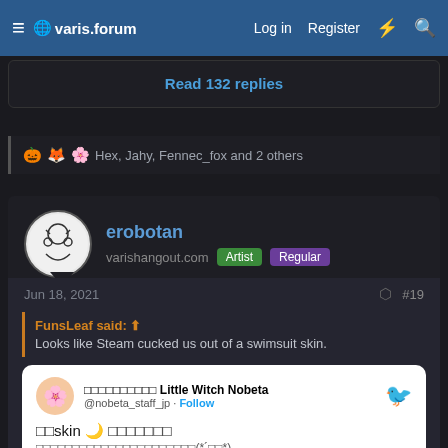≡ 🌐varis.forum   Log in   Register   ⚡   🔍
Read 132 replies
Hex, Jahy, Fennec_fox and 2 others
erobotan
varishangout.com  [Artist] [Regular]
Jun 18, 2021  #19
FunsLeaf said: ↑
Looks like Steam cucked us out of a swimsuit skin.
[Figure (screenshot): Embedded tweet from @nobeta_staff_jp (Little Witch Nobeta) with Japanese text about skin, with a Twitter bird logo and Follow link.]